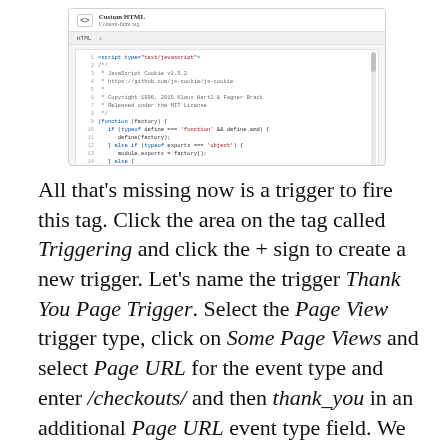[Figure (screenshot): Screenshot of a tag manager interface showing a Custom HTML tag with JavaScript code (JaveScript cookie library) in the code editor area.]
All that's missing now is a trigger to fire this tag. Click the area on the tag called Triggering and click the + sign to create a new trigger. Let's name the trigger Thank You Page Trigger. Select the Page View trigger type, click on Some Page Views and select Page URL for the event type and enter /checkouts/ and then thank_you in an additional Page URL event type field. We need two event types to